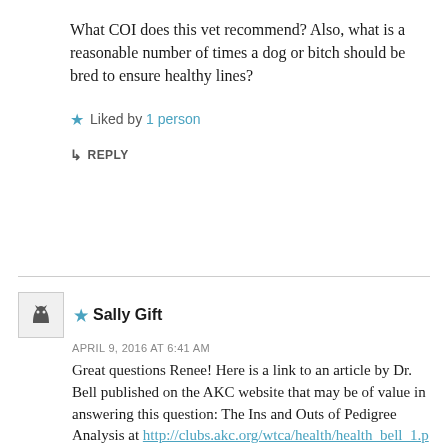What COI does this vet recommend? Also, what is a reasonable number of times a dog or bitch should be bred to ensure healthy lines?
★ Liked by 1 person
↳ REPLY
★ Sally Gift
APRIL 9, 2016 AT 6:41 AM
Great questions Renee! Here is a link to an article by Dr. Bell published on the AKC website that may be of value in answering this question: The Ins and Outs of Pedigree Analysis at http://clubs.akc.org/wtca/health/health_bell_1.pdf
We will be reprinting the article on this site in the near future making it easier for breeders to locate